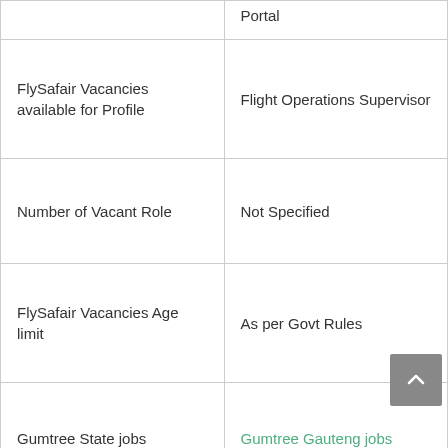|  | Portal |
| FlySafair Vacancies available for Profile | Flight Operations Supervisor |
| Number of Vacant Role | Not Specified |
| FlySafair Vacancies Age limit | As per Govt Rules |
| Gumtree State jobs | Gumtree Gauteng jobs |
| Gumtree jobs | Gumtree Kempton Park Jobs |
| Job Location | Kempton Park |